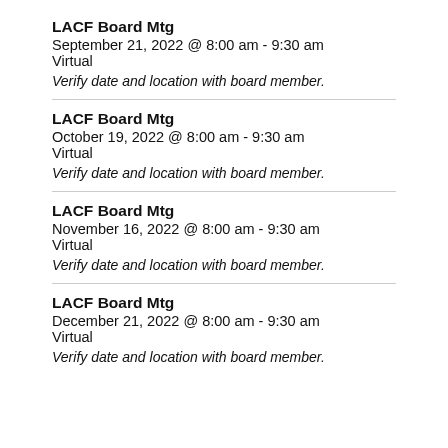LACF Board Mtg
September 21, 2022 @ 8:00 am - 9:30 am
Virtual
Verify date and location with board member.
LACF Board Mtg
October 19, 2022 @ 8:00 am - 9:30 am
Virtual
Verify date and location with board member.
LACF Board Mtg
November 16, 2022 @ 8:00 am - 9:30 am
Virtual
Verify date and location with board member.
LACF Board Mtg
December 21, 2022 @ 8:00 am - 9:30 am
Virtual
Verify date and location with board member.